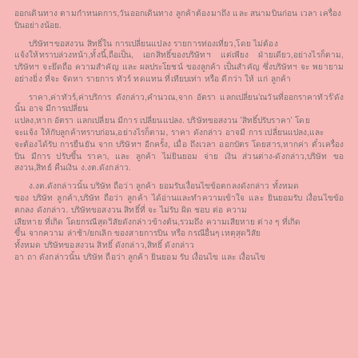ออกเดินทาง ตามกำหนดการ,วันออกเดินทาง ลูกค้าต้องมาถึง และ สนามบินก่อน เวลา เครื่อง บินอย่างน้อย.
บริษัทฯขอสงวน สิทธิ์ใน การเปลี่ยนแปลง รายการท่องเที่ยว,โดย ไม่ต้อง แจ้งให้ทราบล่วงหน้า,ทั้งนี้,ถือเป็น, เอกสิทธิ์ของบริษัทฯ แต่เพียง ฝ่ายเดียว,อย่างไรก็ตาม, บริษัทฯ จะยึดถือ ความสำคัญ และ ผลประโยชน์ ของลูกค้า เป็นสำคัญ ซึ่งบริษัทฯ จะ พยายาม อย่างยิ่ง ที่จะ จัดหา รายการ ทัวร์ ทดแทน ที่เทียบเท่า หรือ ดีกว่า ให้ แก่ ลูกค้า
ราคา,ค่าทัวร์,ค่าบริการ ดังกล่าว,คำนวณ,จาก อัตรา แลกเปลี่ยน'ณวันที่ออกราคาทัวร์'ดังนั้น อาจ มีการเปลี่ยน แปลง,หาก อัตรา แลกเปลี่ยน มีการ เปลี่ยนแปลง. บริษัทขอสงวน 'สิทธิ์ปรับราคา' โดย จะแจ้ง ให้กับลูกค้าทราบก่อน,อย่างไรก็ตาม, ราคา ดังกล่าว อาจมี การ เปลี่ยนแปลง,และ จะต้องได้รับ การยืนยัน จาก บริษัทฯ อีกครั้ง, เมื่อ ถึงเวลา ออกบัตร โดยสาร,หากค่า ตั๋วเครื่องบิน มีการ ปรับขึ้น ราคา, และ ลูกค้า ไม่ยินยอม จ่าย เงิน ส่วนต่าง-ดังกล่าว,บริษัท ขอสงวน,สิทธ์  คืนเงิน ง.งต.ดังกล่าว.
ง.งต.ดังกล่าวนั้น บริษัท ถือว่า ลูกค้า ยอมรับเงื่อนไขข้อตกลงดังกล่าว ทั้งหมด ของ บริษัท ลูกค้า,บริษัท ถือว่า ลูกค้า ได้อ่านและทำความเข้าใจ และ ยินยอมรับ เงื่อนไขข้อตกลง ดังกล่าว. บริษัทขอสงวน สิทธิ์ที่ จะ ไม่รับ ผิด ชอบ ต่อ ความ เสียหาย ที่เกิด โดยกรณีสุดวิสัยดังกล่าวข้างต้น,รวมถึง ความเสียหาย ต่าง ๆ ที่เกิด ขึ้น จากความ ล่าช้า/ยกเลิก ของสายการบิน หรือ กรณีอื่นๆ เหตุสุดวิสัย ทั้งหมด บริษัทขอสงวน,สิทธิ์ ดังกล่าว
อา ถา ดังกล่าวนั้น บริษัท ถือว่า ลูกค้า ยินยอม รับ เงื่อนไข และ เงื่อนไข